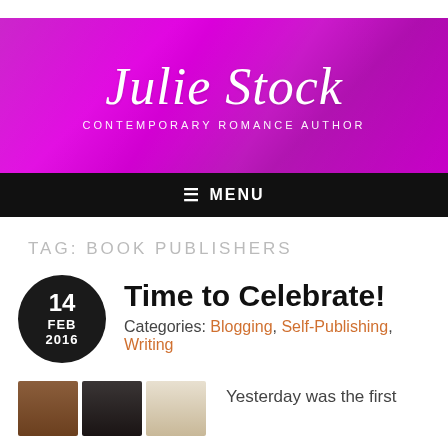[Figure (illustration): Purple/magenta gradient banner with script text 'Julie Stock' and subtitle 'CONTEMPORARY ROMANCE AUTHOR']
MENU
TAG: BOOK PUBLISHERS
Time to Celebrate!
Categories: Blogging, Self-Publishing, Writing
Yesterday was the first